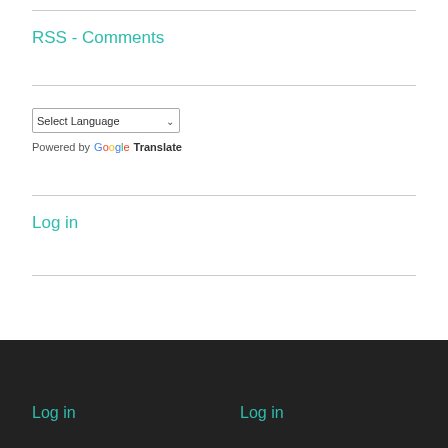RSS - Comments
Select Language — Powered by Google Translate
Log in
Log in   Log in